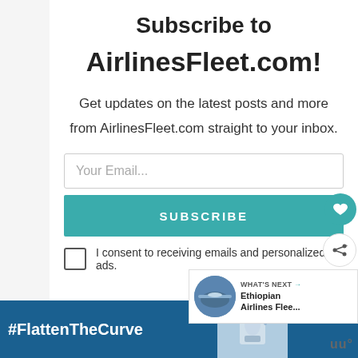Subscribe to AirlinesFleet.com!
Get updates on the latest posts and more from AirlinesFleet.com straight to your inbox.
[Figure (screenshot): Email subscription form with email input field, SUBSCRIBE button, and consent checkbox. Heart and share floating buttons on right side. 'What's Next' card showing Ethiopian Airlines Fleet link.]
[Figure (infographic): Ad banner at the bottom with #FlattenTheCurve hashtag, close button, hand washing image, and logo.]